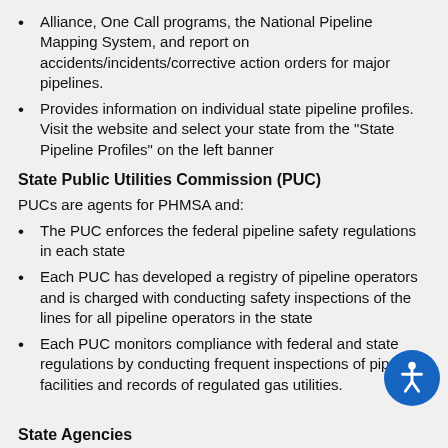Alliance, One Call programs, the National Pipeline Mapping System, and report on accidents/incidents/corrective action orders for major pipelines.
Provides information on individual state pipeline profiles. Visit the website and select your state from the "State Pipeline Profiles" on the left banner
State Public Utilities Commission (PUC)
PUCs are agents for PHMSA and:
The PUC enforces the federal pipeline safety regulations in each state
Each PUC has developed a registry of pipeline operators and is charged with conducting safety inspections of the lines for all pipeline operators in the state
Each PUC monitors compliance with federal and state regulations by conducting frequent inspections of pipeline facilities and records of regulated gas utilities.
State Agencies